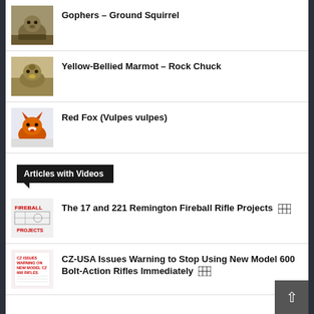Gophers – Ground Squirrel
Yellow-Bellied Marmot – Rock Chuck
Red Fox (Vulpes vulpes)
Articles with Videos
The 17 and 221 Remington Fireball Rifle Projects
CZ-USA Issues Warning to Stop Using New Model 600 Bolt-Action Rifles Immediately